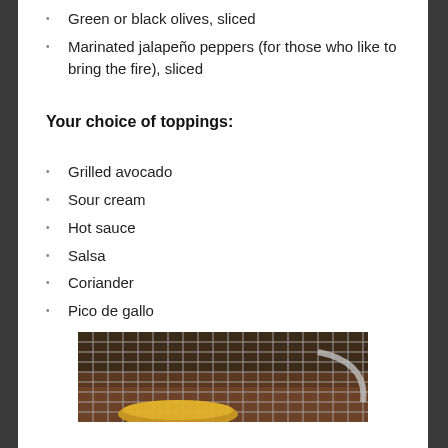Green or black olives, sliced
Marinated jalapeño peppers (for those who like to bring the fire), sliced
Your choice of toppings:
Grilled avocado
Sour cream
Hot sauce
Salsa
Coriander
Pico de gallo
[Figure (photo): Photo of food cooking on a grill grate, showing a dark background with metal grid grill lines and what appears to be tacos or tortillas with a pan handle visible on the right side.]